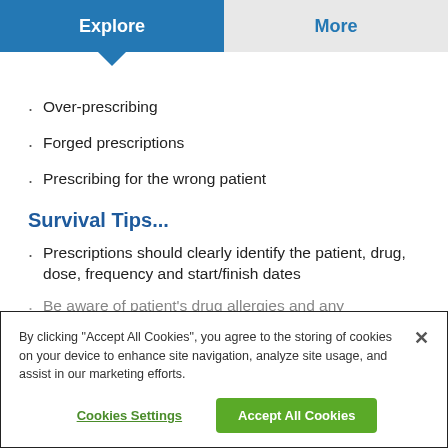Explore | More
Over-prescribing
Forged prescriptions
Prescribing for the wrong patient
Survival Tips...
Prescriptions should clearly identify the patient, drug, dose, frequency and start/finish dates
Be aware of patient's drug allergies and any interactions
By clicking “Accept All Cookies”, you agree to the storing of cookies on your device to enhance site navigation, analyze site usage, and assist in our marketing efforts.
Cookies Settings | Accept All Cookies